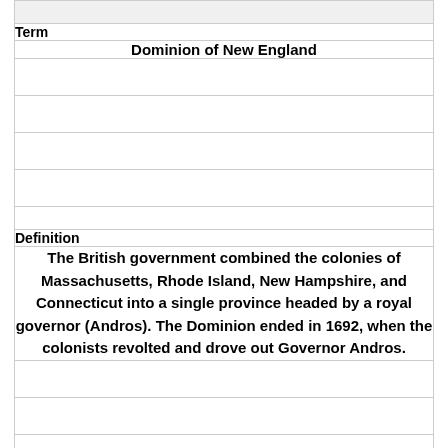Term
Dominion of New England
Definition
The British government combined the colonies of Massachusetts, Rhode Island, New Hampshire, and Connecticut into a single province headed by a royal governor (Andros). The Dominion ended in 1692, when the colonists revolted and drove out Governor Andros.